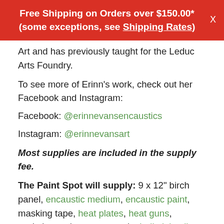Free Shipping on Orders over $150.00* (some exceptions, see Shipping Rates)
Art and has previously taught for the Leduc Arts Foundry.
To see more of Erinn's work, check out her Facebook and Instagram:
Facebook: @erinnevansencaustics
Instagram: @erinnevansart
Most supplies are included in the supply fee.
The Paint Spot will supply: 9 x 12" birch panel, encaustic medium, encaustic paint, masking tape, heat plates, heat guns, sculpting tools, paper towels, India ink, oil pigment sticks, metal tins for